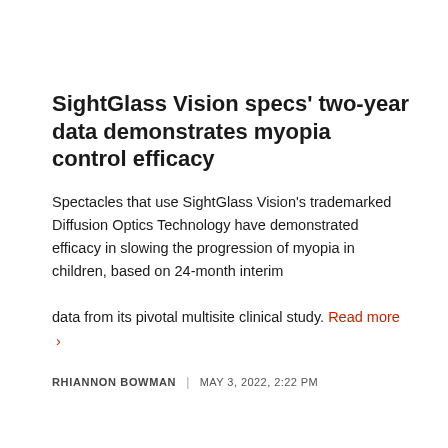SightGlass Vision specs' two-year data demonstrates myopia control efficacy
Spectacles that use SightGlass Vision's trademarked Diffusion Optics Technology have demonstrated efficacy in slowing the progression of myopia in children, based on 24-month interim data from its pivotal multisite clinical study. Read more ›
RHIANNON BOWMAN  |  MAY 3, 2022, 2:22 PM